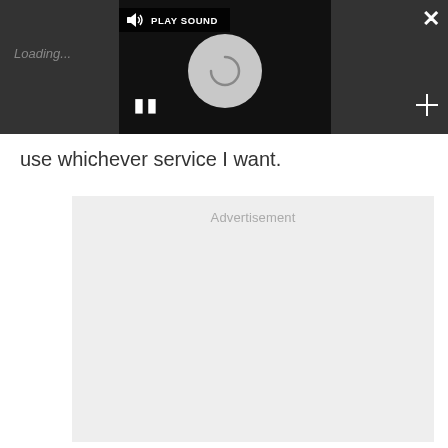[Figure (screenshot): Dark video player overlay with a play sound button, loading spinner circle, pause button, close X button, and expand icon.]
use whichever service I want.
[Figure (other): Advertisement placeholder box with the label 'Advertisement' centered at the top.]